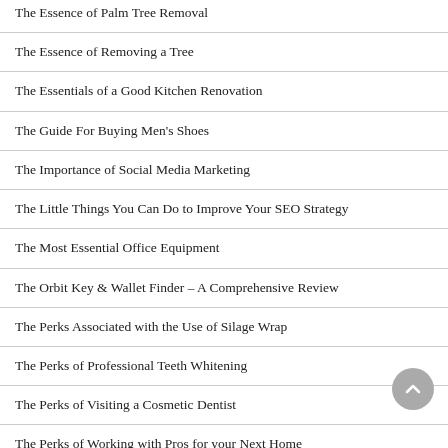The Essence of Palm Tree Removal
The Essence of Removing a Tree
The Essentials of a Good Kitchen Renovation
The Guide For Buying Men's Shoes
The Importance of Social Media Marketing
The Little Things You Can Do to Improve Your SEO Strategy
The Most Essential Office Equipment
The Orbit Key & Wallet Finder – A Comprehensive Review
The Perks Associated with the Use of Silage Wrap
The Perks of Professional Teeth Whitening
The Perks of Visiting a Cosmetic Dentist
The Perks of Working with Pros for your Next Home Renovation Project